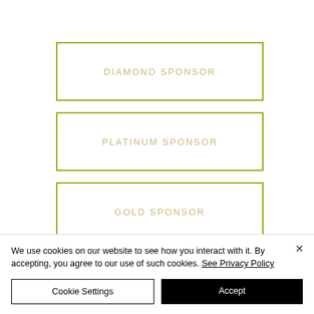DIAMOND SPONSOR
PLATINUM SPONSOR
GOLD SPONSOR
For additional information, please
We use cookies on our website to see how you interact with it. By accepting, you agree to our use of such cookies. See Privacy Policy
Cookie Settings
Accept